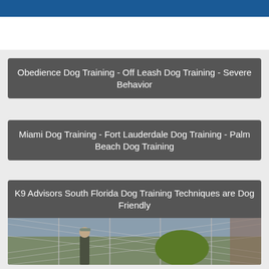Obedience Dog Training - Off Leash Dog Training - Severe Behavior
Miami Dog Training - Fort Lauderdale Dog Training - Palm Beach Dog Training
K9 Advisors South Florida Dog Training Techniques are Dog Friendly
[Figure (photo): Person walking in an outdoor area behind a chain-link fence with green foliage visible in the background]